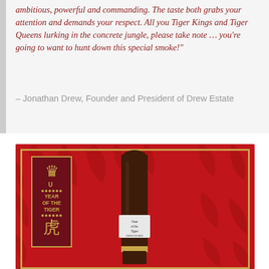ambitious, powerful and commanding. The taste both grabs your attention and demands your respect. All you Tiger Kings and Tiger Queens lurking in the concrete jungle, please take note … you're going to want to hunt down this special smoke!"
– Jonathan Drew, Founder and President of Drew Estate
[Figure (photo): A Drew Estate 'Year of the Tiger' cigar standing upright against a red background with tiger stripe pattern, gold border frame, and a dark maroon label box with gold lion emblem, 'YEAR OF THE TIGER' text, and Chinese character for tiger (虎).]